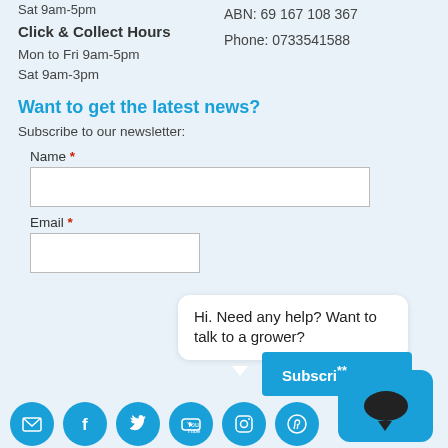Sat 9am-5pm
Click & Collect Hours
Mon to Fri 9am-5pm
Sat 9am-3pm
ABN: 69 167 108 367
Phone: 0733541588
Want to get the latest news?
Subscribe to our newsletter:
Name *
Email *
Hi. Need any help? Want to talk to a grower?
Subscri**
[Figure (illustration): Social media icon row: email, facebook, twitter, youtube, instagram, pinterest — all in teal/blue circles]